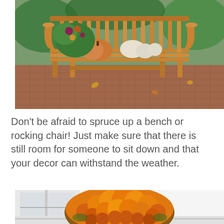[Figure (photo): A wooden teak outdoor bench with autumn/fall decorations: pumpkins (orange and white), white gourds, and a floral arrangement with green foliage. The bench sits on a herringbone brick patio with fallen leaves on the ground and green bushes in the background.]
Don't be afraid to spruce up a bench or rocking chair! Just make sure that there is still room for someone to sit down and that your decor can withstand the weather.
[Figure (photo): A large, full, orange chrysanthemum mum plant in bloom, placed on white porch steps near a white door/window frame.]